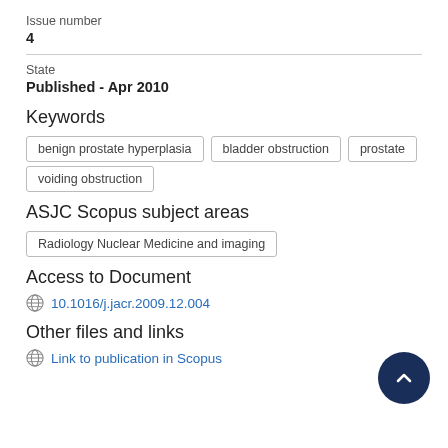Issue number
4
State
Published - Apr 2010
Keywords
benign prostate hyperplasia
bladder obstruction
prostate
voiding obstruction
ASJC Scopus subject areas
Radiology Nuclear Medicine and imaging
Access to Document
10.1016/j.jacr.2009.12.004
Other files and links
Link to publication in Scopus